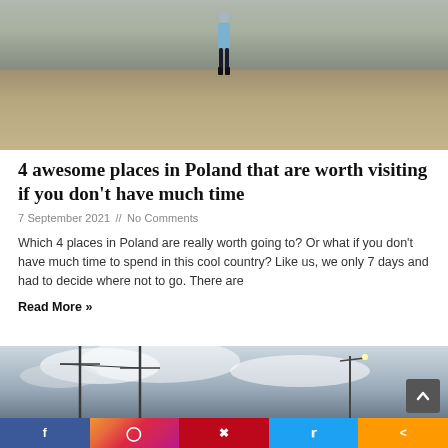[Figure (photo): A person in a blue coat standing on a rocky mountain path, viewed from behind, with gravel and rocks around.]
4 awesome places in Poland that are worth visiting if you don't have much time
7 September 2021 // No Comments
Which 4 places in Poland are really worth going to? Or what if you don't have much time to spend in this cool country? Like us, we only 7 days and had to decide where not to go. There are
Read More »
[Figure (photo): Outdoor landscape photo showing utility poles against a cloudy sky, partially cropped at the bottom of the page.]